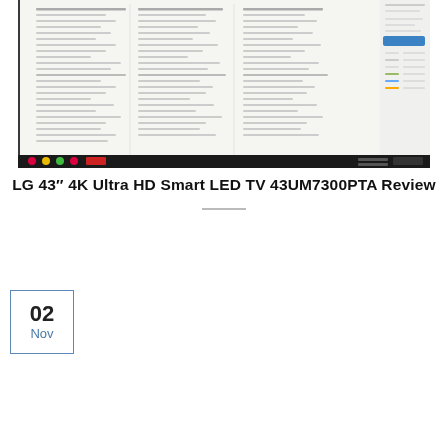[Figure (screenshot): Screenshot of a document or spreadsheet open on a laptop/desktop monitor with a dark taskbar at the bottom, showing text content in multiple columns on a white background with a browser sidebar visible on the right.]
LG 43″ 4K Ultra HD Smart LED TV 43UM7300PTA Review
02 Nov